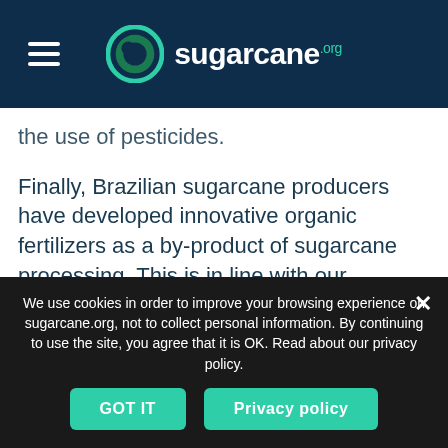sugarcane.org
the use of pesticides.
Finally, Brazilian sugarcane producers have developed innovative organic fertilizers as a by-product of sugarcane processing. This is in line with our commitments to promote biodiversity, improve soil health and reduce reliance on chemical fertilizers.
Sustainable decarbonization
Increasing and protecting biodiversity supports carbon capture. However, without
We use cookies in order to improve your browsing experience on sugarcane.org, not to collect personal information. By continuing to use the site, you agree that it is OK. Read about our privacy policy.